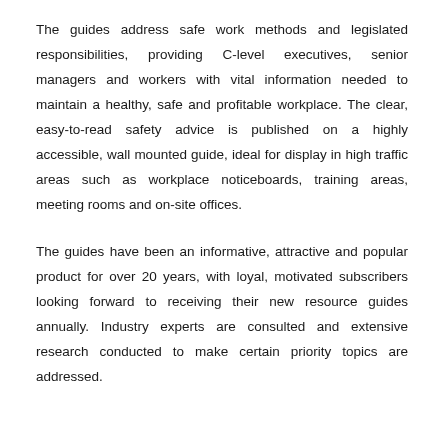The guides address safe work methods and legislated responsibilities, providing C-level executives, senior managers and workers with vital information needed to maintain a healthy, safe and profitable workplace. The clear, easy-to-read safety advice is published on a highly accessible, wall mounted guide, ideal for display in high traffic areas such as workplace noticeboards, training areas, meeting rooms and on-site offices.
The guides have been an informative, attractive and popular product for over 20 years, with loyal, motivated subscribers looking forward to receiving their new resource guides annually. Industry experts are consulted and extensive research conducted to make certain priority topics are addressed.